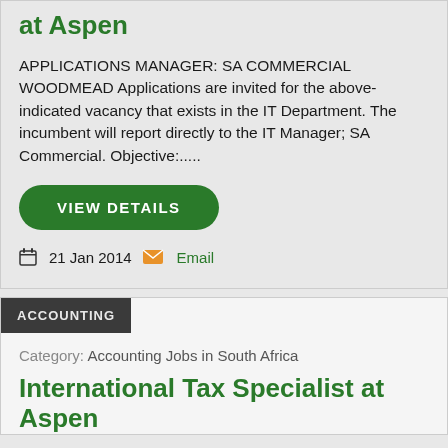at Aspen
APPLICATIONS MANAGER: SA COMMERCIAL WOODMEAD Applications are invited for the above-indicated vacancy that exists in the IT Department. The incumbent will report directly to the IT Manager; SA Commercial. Objective:.....
VIEW DETAILS
21 Jan 2014  Email
ACCOUNTING
Category: Accounting Jobs in South Africa
International Tax Specialist at Aspen